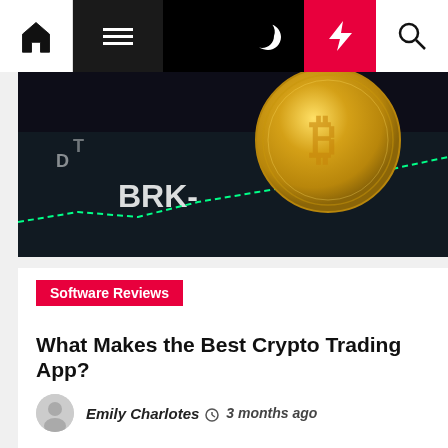Navigation bar with home, menu, moon, bolt, and search icons
[Figure (photo): Close-up photo of a gold Bitcoin coin resting on a dark smartphone screen showing financial chart data with green dashed line going up, text visible includes 'BRK-']
Software Reviews
What Makes the Best Crypto Trading App?
Emily Charlotes  3 months ago
The best crypto trading app depends on several factors, including the type of cryptocurrency it supports. Users should choose one that offers access to multiple currencies, rather than a single cryptocurrency. Another important factor is the cost. Users should look at the broker's fee, which should include withdrawal, deposit, and [...]